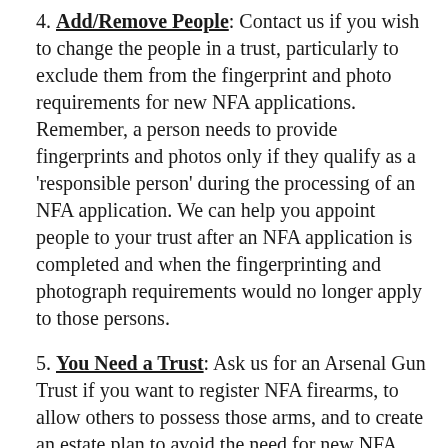4. Add/Remove People: Contact us if you wish to change the people in a trust, particularly to exclude them from the fingerprint and photo requirements for new NFA applications. Remember, a person needs to provide fingerprints and photos only if they qualify as a 'responsible person' during the processing of an NFA application. We can help you appoint people to your trust after an NFA application is completed and when the fingerprinting and photograph requirements would no longer apply to those persons.
5. You Need a Trust: Ask us for an Arsenal Gun Trust if you want to register NFA firearms, to allow others to possess those arms, and to create an estate plan to avoid the need for new NFA registrations or a public probate court process.
For help with these and similar topics about the National Firearms Act ATF regulations, please